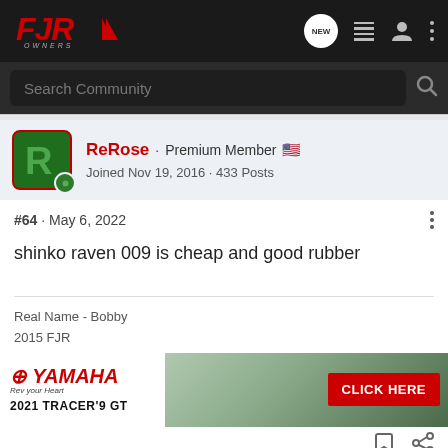FJR Owners - Navigation bar with logo, NEW button, list icon, user icon, menu icon
Search Community
ReRose · Premium Member 🇺🇸
Joined Nov 19, 2016 · 433 Posts
#64  ·  May 6, 2022
shinko raven 009 is cheap and good rubber
Real Name - Bobby
2015 FJR
[Figure (screenshot): Yamaha 2021 Tracer 9 GT advertisement banner with Yamaha logo, motorcycle photo, and CLICK HERE button]